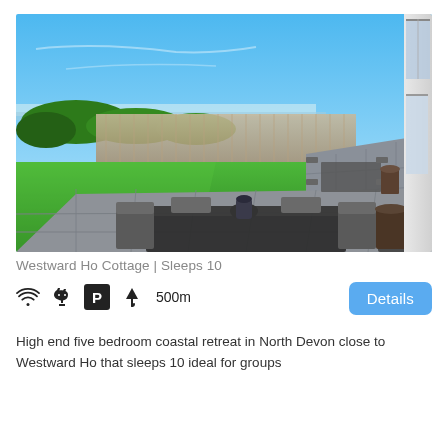[Figure (photo): Outdoor patio area of a coastal holiday cottage with garden furniture (table and chairs) on slate tiles, a green lawn, wooden fence, and sea view in the background under a bright blue sky.]
Westward Ho Cottage | Sleeps 10
WiFi, Dogs allowed, Parking, Beach umbrella, 500m
Details
High end five bedroom coastal retreat in North Devon close to Westward Ho that sleeps 10 ideal for groups